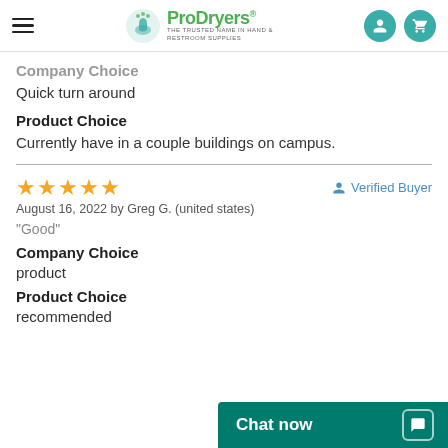ProDryers — THE TRUSTED NAME IN HAND & RESTROOM SUPPLIES
Company Choice
Quick turn around
Product Choice
Currently have in a couple buildings on campus.
★★★★★  Verified Buyer
August 16, 2022 by Greg G. (united states)
"Good"
Company Choice
product
Product Choice
recommended
Chat now